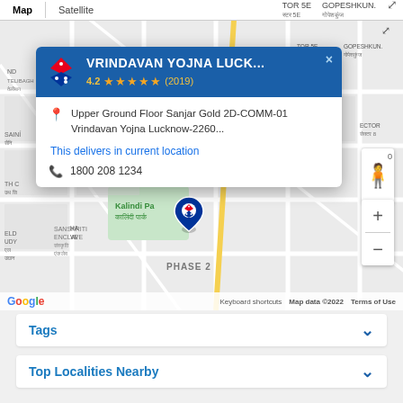[Figure (map): Google Maps screenshot showing Domino's Pizza at Vrindavan Yojna, Lucknow with an info popup card showing address, rating 4.2 stars (2019 reviews), delivery availability, and phone number 1800 208 1234. Map shows Kalindi Park area, Phase 2, with street grid.]
Tags
Top Localities Nearby